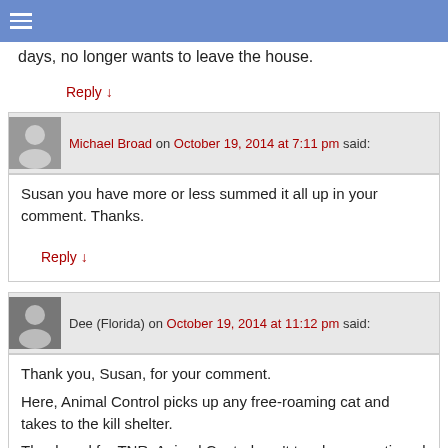☰ (menu icon)
days, no longer wants to leave the house.
Reply ↓
Michael Broad on October 19, 2014 at 7:11 pm said:
Susan you have more or less summed it all up in your comment. Thanks.
Reply ↓
Dee (Florida) on October 19, 2014 at 11:12 pm said:
Thank you, Susan, for your comment.
Here, Animal Control picks up any free-roaming cat and takes to the kill shelter.
Thank god for TNR. Animal Control can't touch any eartipped cat. Even domesticated, I have them eartipped anyway to protect them.